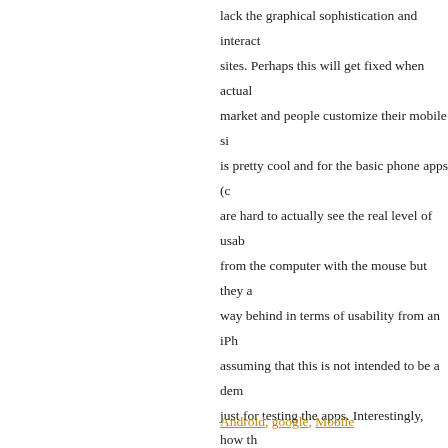lack the graphical sophistication and interact sites. Perhaps this will get fixed when actual market and people customize their mobile si is pretty cool and for the basic phone apps (c are hard to actually see the real level of usab from the computer with the mouse but they a way behind in terms of usability from an iPh assuming that this is not intended to be a dem just for testing the apps. Interestingly, how th displayed on the emulator is different from h documentation provided, apparently there ar emulator around.
CD
Android, google, Mobile